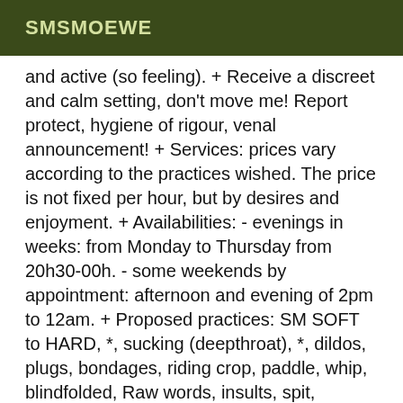SMSMOEWE
and active (so feeling). + Receive a discreet and calm setting, don't move me! Report protect, hygiene of rigour, venal announcement! + Services: prices vary according to the practices wished. The price is not fixed per hour, but by desires and enjoyment. + Availabilities: - evenings in weeks: from Monday to Thursday from 20h30-00h. - some weekends by appointment: afternoon and evening of 2pm to 12am. + Proposed practices: SM SOFT to HARD, *, sucking (deepthroat), *, dildos, plugs, bondages, riding crop, paddle, whip, blindfolded, Raw words, insults, spit, handcuffs, collar leash, wax, etc.. + To make an appointment call by leaving a voice message on my mailbox indicating: name, age, and desires (beginner or experienced) also specify your availability, I come to you by sms. Then the contact will follow by a call between us. + Scenario will be imposed during appointments. If desire and serious then to you to play!!!